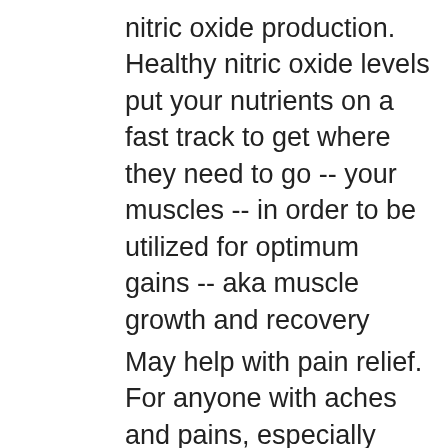nitric oxide production. Healthy nitric oxide levels put your nutrients on a fast track to get where they need to go -- your muscles -- in order to be utilized for optimum gains -- aka muscle growth and recovery
May help with pain relief. For anyone with aches and pains, especially athletes or the physically active, adding this into your stack is crucial.
May help relieve symptoms of anxiety and depression
Studies have shown that agmatine can improve blood glucose levels. In doing so, it increases endorphins -- peptides with morphine-like effects released during exercise or eating certain foods -- leading to improved moods and lean muscle gain